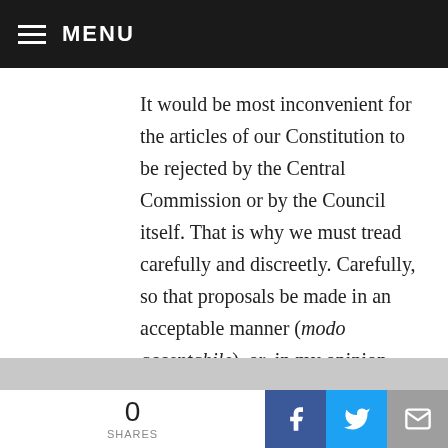MENU
It would be most inconvenient for the articles of our Constitution to be rejected by the Central Commission or by the Council itself. That is why we must tread carefully and discreetly. Carefully, so that proposals be made in an acceptable manner (modo acceptabile), or, in my opinion, formulated in such a way that much is said without seeming to say anything: let many things be said in embryo (in nuce) and in this way let the door remain open to legitimate and possible postconciliar deductions and
0 SHARES